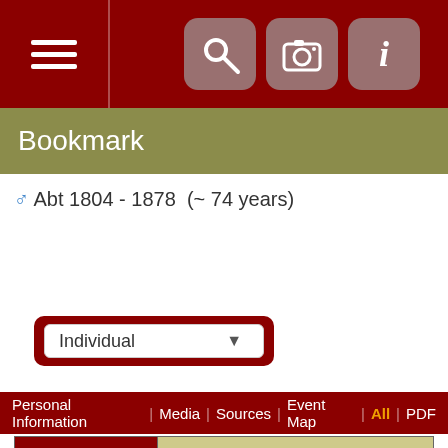Bookmark
♂ Abt 1804 - 1878  (~ 74 years)
Individual (dropdown)
Personal Information | Media | Sources | Event Map | All | PDF
| Field | Date | Place/Info |
| --- | --- | --- |
| Name | Robert Spink |  |
| Born | Abt 1804 | Hook, East Yorkshire, England |
| Christened | 20 May 1804 | Hook, East Yorkshire, England |
| Gender | Male |  |
| Occupation | 1851 | Hook, East Yorkshire, England |
|  | Agricultural labourer |  |
| Occupation | 1861 | Hook, East Yorkshire, England |